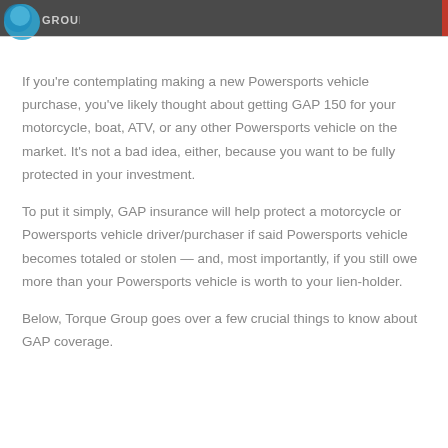GROUP
If you're contemplating making a new Powersports vehicle purchase, you've likely thought about getting GAP 150 for your motorcycle, boat, ATV, or any other Powersports vehicle on the market. It's not a bad idea, either, because you want to be fully protected in your investment.
To put it simply, GAP insurance will help protect a motorcycle or Powersports vehicle driver/purchaser if said Powersports vehicle becomes totaled or stolen — and, most importantly, if you still owe more than your Powersports vehicle is worth to your lien-holder.
Below, Torque Group goes over a few crucial things to know about GAP coverage.